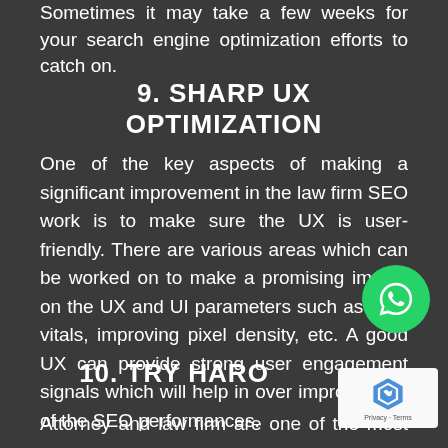Sometimes it may take a few weeks for your search engine optimization efforts to catch on.
9. SHARP UX OPTIMIZATION
One of the key aspects of making a significant improvement in the law firm SEO work is to make sure the UX is user-friendly. There are various areas which can be worked on to make a promising impact on the UX and UI parameters such as Web vitals, improving pixel density, etc. A good UX can provide strong user engagement signals which will help in over improvement of the SEO performances.
10. TRY HARO
Attorney and law firm are one of the most expensive